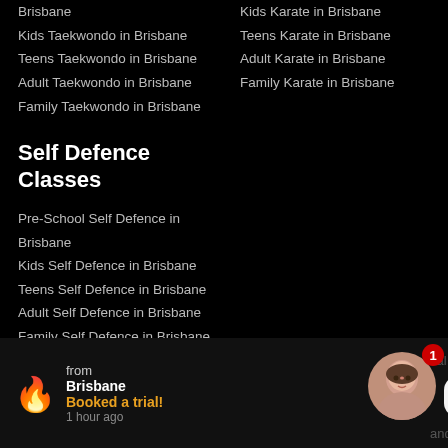Brisbane
Kids Taekwondo in Brisbane
Teens Taekwondo in Brisbane
Adult Taekwondo in Brisbane
Family Taekwondo in Brisbane
Kids Karate in Brisbane
Teens Karate in Brisbane
Adult Karate in Brisbane
Family Karate in Brisbane
Self Defence Classes
Pre-School Self Defence in Brisbane
Kids Self Defence in Brisbane
Teens Self Defence in Brisbane
Adult Self Defence in Brisbane
Family Self Defence in Brisbane
from Brisbane Booked a trial! 1 hour ago
Can I help you?